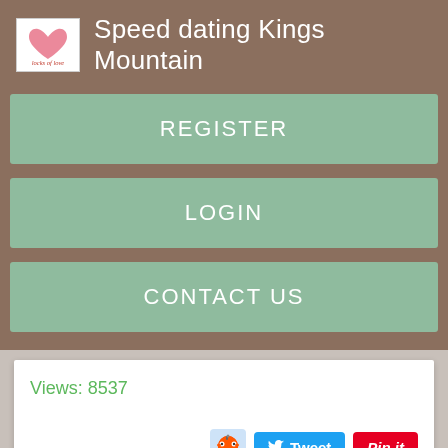[Figure (logo): Locks of Love logo with heart icon, white background with pink heart and script text]
Speed dating Kings Mountain
REGISTER
LOGIN
CONTACT US
Views: 8537
[Figure (screenshot): Social sharing buttons: Reddit alien icon, Tweet button (blue), Pin it button (red)]
[Figure (screenshot): Comment/list icon (green speech bubble with lines)]
[Figure (screenshot): Three black thumbnail images at bottom of page]